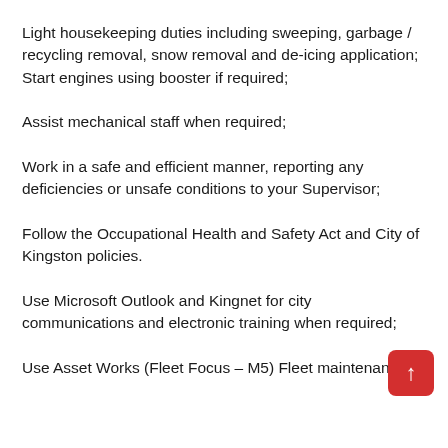Light housekeeping duties including sweeping, garbage / recycling removal, snow removal and de-icing application; Start engines using booster if required;
Assist mechanical staff when required;
Work in a safe and efficient manner, reporting any deficiencies or unsafe conditions to your Supervisor;
Follow the Occupational Health and Safety Act and City of Kingston policies.
Use Microsoft Outlook and Kingnet for city communications and electronic training when required;
Use Asset Works (Fleet Focus – M5) Fleet maintenance application for all required functions.